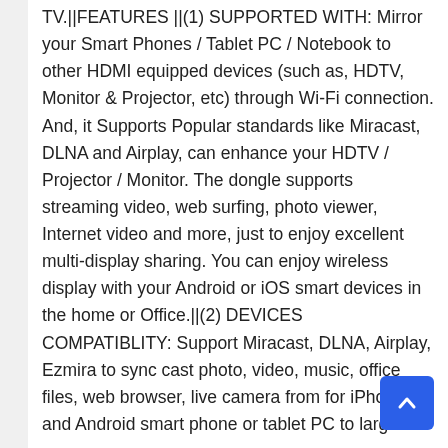TV.||FEATURES ||(1) SUPPORTED WITH: Mirror your Smart Phones / Tablet PC / Notebook to other HDMI equipped devices (such as, HDTV, Monitor & Projector, etc) through Wi-Fi connection. And, it Supports Popular standards like Miracast, DLNA and Airplay, can enhance your HDTV / Projector / Monitor. The dongle supports streaming video, web surfing, photo viewer, Internet video and more, just to enjoy excellent multi-display sharing. You can enjoy wireless display with your Android or iOS smart devices in the home or Office.||(2) DEVICES COMPATIBLITY: Support Miracast, DLNA, Airplay, Ezmira to sync cast photo, video, music, office files, web browser, live camera from for iPhone and Android smart phone or tablet PC to large